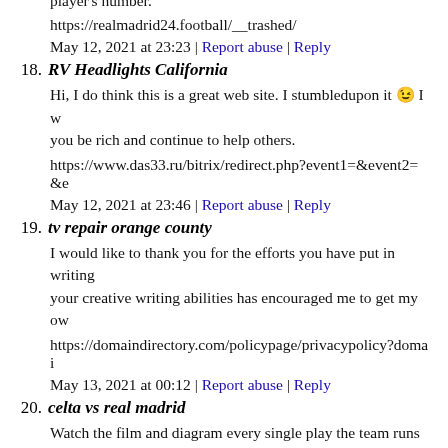player's number.
https://realmadrid24.football/__trashed/
May 12, 2021 at 23:23 | Report abuse | Reply
18. RV Headlights California
Hi, I do think this is a great web site. I stumbledupon it 😉 I w you be rich and continue to help others.
https://www.das33.ru/bitrix/redirect.php?event1=&event2=&e
May 12, 2021 at 23:46 | Report abuse | Reply
19. tv repair orange county
I would like to thank you for the efforts you have put in writing your creative writing abilities has encouraged me to get my ow
https://domaindirectory.com/policypage/privacypolicy?domai
May 13, 2021 at 00:12 | Report abuse | Reply
20. celta vs real madrid
Watch the film and diagram every single play the team runs in down and distance to your best of one's knowledge together wi assignments as executed and the backfield player numbers. Fo